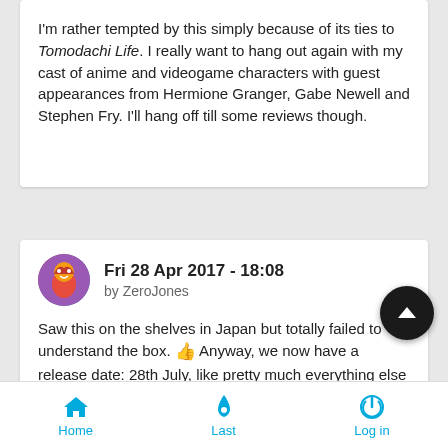I'm rather tempted by this simply because of its ties to Tomodachi Life. I really want to hang out again with my cast of anime and videogame characters with guest appearances from Hermione Granger, Gabe Newell and Stephen Fry. I'll hang off till some reviews though.
Fri 28 Apr 2017 - 18:08 by ZeroJones
Saw this on the shelves in Japan but totally failed to understand the box. 👍 Anyway, we now have a release date: 28th July, like pretty much everything else this year. 🙂 If it's like Tomodachi Life, my interest is increased: Jo had a lot of fun with that g[ame] for a couple of months.
Home  Last  Log in